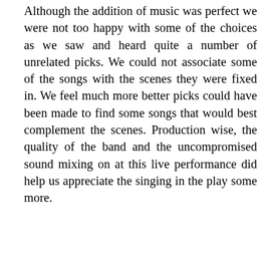Although the addition of music was perfect we were not too happy with some of the choices as we saw and heard quite a number of unrelated picks. We could not associate some of the songs with the scenes they were fixed in. We feel much more better picks could have been made to find some songs that would best complement the scenes. Production wise, the quality of the band and the uncompromised sound mixing on at this live performance did help us appreciate the singing in the play some more.